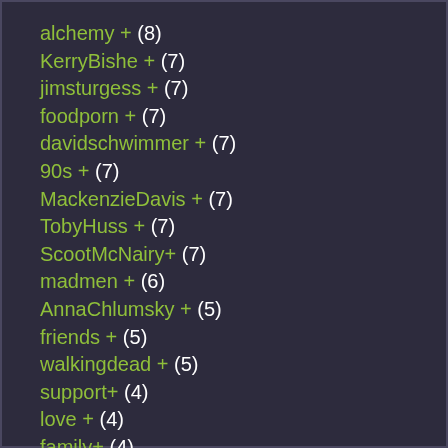alchemy + (8)
KerryBishe + (7)
jimsturgess + (7)
foodporn + (7)
davidschwimmer + (7)
90s + (7)
MackenzieDavis + (7)
TobyHuss + (7)
ScootMcNairy + (7)
madmen + (6)
AnnaChlumsky + (5)
friends + (5)
walkingdead + (5)
support + (4)
love + (4)
family + (4)
disorientation + (4)
CeciliaBalagot + (4)
bitcoin + (4)